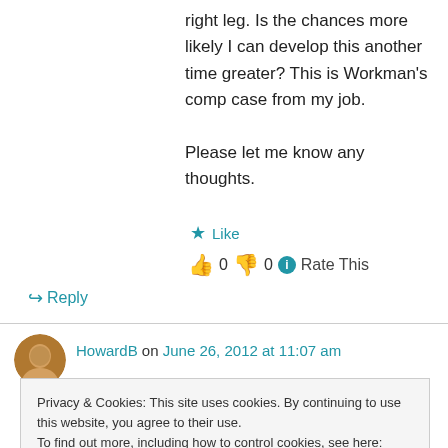right leg. Is the chances more likely I can develop this another time greater? This is Workman's comp case from my job.

Please let me know any thoughts.
★ Like
👍 0 👎 0 ℹ Rate This
↪ Reply
HowardB on June 26, 2012 at 11:07 am
Privacy & Cookies: This site uses cookies. By continuing to use this website, you agree to their use.
To find out more, including how to control cookies, see here: Cookie Policy
Close and accept
happened, which is frustrating in that I'd love to